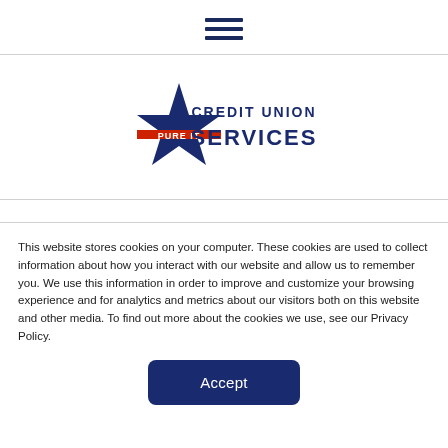[Figure (other): Hamburger menu icon — three horizontal dark navy bars centered at top of page]
[Figure (logo): Pure IT Credit Union Services logo: dark navy star with a red bar at the base labeled 'PURE IT' and text 'CREDIT UNION SERVICES' to the right in dark navy]
This website stores cookies on your computer. These cookies are used to collect information about how you interact with our website and allow us to remember you. We use this information in order to improve and customize your browsing experience and for analytics and metrics about our visitors both on this website and other media. To find out more about the cookies we use, see our Privacy Policy.
[Figure (other): Accept button — dark navy rounded rectangle with white 'Accept' text]